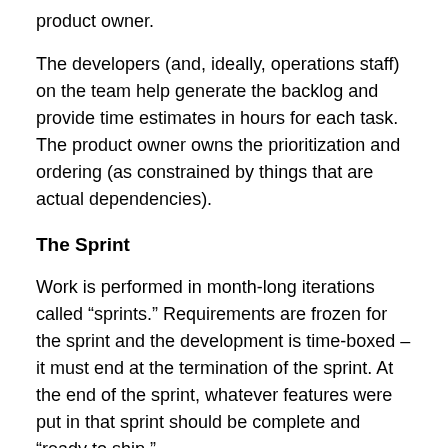product owner.
The developers (and, ideally, operations staff)  on the team help generate the backlog and provide time estimates in hours for each task. The product owner owns the prioritization and ordering (as constrained by things that are actual dependencies).
The Sprint
Work is performed in month-long iterations called “sprints.” Requirements are frozen for the sprint and the development is time-boxed – it must end at the termination of the sprint. At the end of the sprint, whatever features were put in that sprint should be complete and “ready to ship.”
The Standup